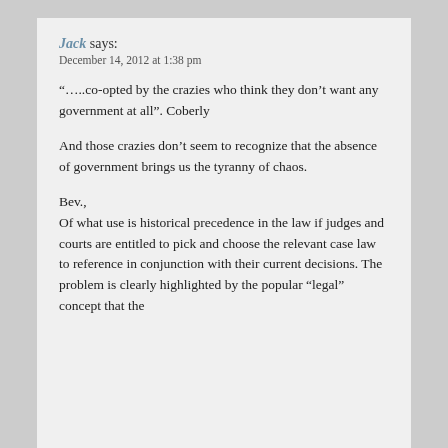Jack says:
December 14, 2012 at 1:38 pm
“…..co-opted by the crazies who think they don’t want any government at all”. Coberly
And those crazies don’t seem to recognize that the absence of government brings us the tyranny of chaos.
Bev.,
Of what use is historical precedence in the law if judges and courts are entitled to pick and choose the relevant case law to reference in conjunction with their current decisions. The problem is clearly highlighted by the popular “legal” concept that the